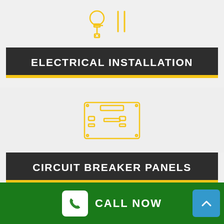[Figure (illustration): Yellow outline icon of electrical tools (lamp/bulb with plug) on light gray background]
ELECTRICAL INSTALLATION
[Figure (illustration): Yellow outline icon of a UK electrical socket/outlet on light gray background]
CIRCUIT BREAKER PANELS
CALL NOW